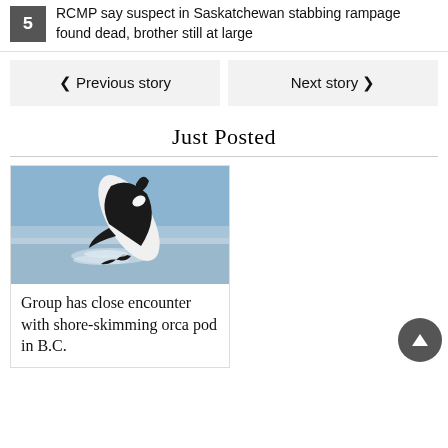5 RCMP say suspect in Saskatchewan stabbing rampage found dead, brother still at large
< Previous story | Next story >
Just Posted
[Figure (photo): An orca breaching out of the ocean water, leaping upward with its body visible above the water surface against a blue sky background.]
Group has close encounter with shore-skimming orca pod in B.C.